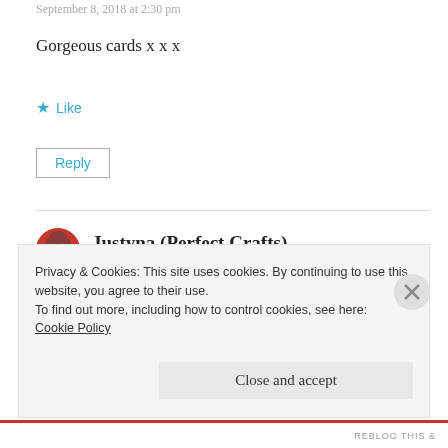September 8, 2018 at 2:30 pm
Gorgeous cards x x x
★ Like
Reply
Justyna (Perfect Crafts)
September 8, 2018 at 3:34 pm
Privacy & Cookies: This site uses cookies. By continuing to use this website, you agree to their use.
To find out more, including how to control cookies, see here:
Cookie Policy
Close and accept